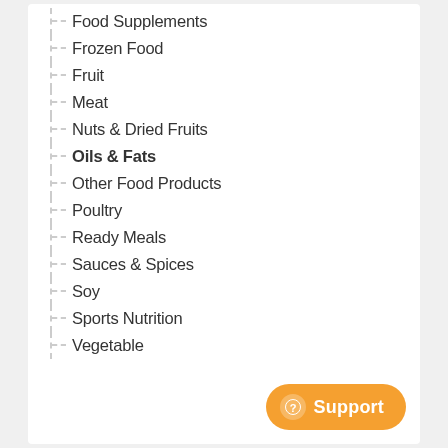Food Supplements
Frozen Food
Fruit
Meat
Nuts & Dried Fruits
Oils & Fats
Other Food Products
Poultry
Ready Meals
Sauces & Spices
Soy
Sports Nutrition
Vegetable